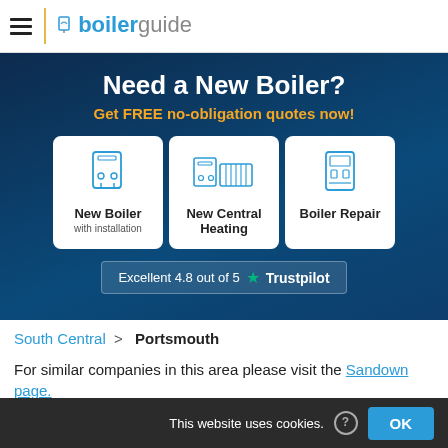boilerguide — navigation header
Need a New Boiler?
Get FREE no-obligation quotes now!
[Figure (infographic): Three service option cards: New Boiler (with installation), New Central Heating, Boiler Repair — each with a line-art icon]
Excellent 4.8 out of 5  ★ Trustpilot
South Central > Portsmouth
For similar companies in this area please visit the Sandown page.
Island Heating
This website uses cookies. ? OK